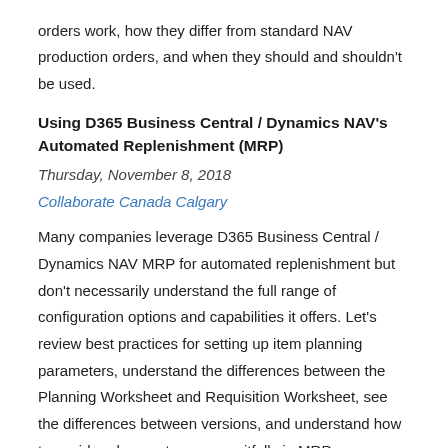orders work, how they differ from standard NAV production orders, and when they should and shouldn't be used.
Using D365 Business Central / Dynamics NAV's Automated Replenishment (MRP)
Thursday, November 8, 2018
Collaborate Canada Calgary
Many companies leverage D365 Business Central / Dynamics NAV MRP for automated replenishment but don't necessarily understand the full range of configuration options and capabilities it offers. Let's review best practices for setting up item planning parameters, understand the differences between the Planning Worksheet and Requisition Worksheet, see the differences between versions, and understand how to avoid and correct common pitfalls in MRP.
Related posts: